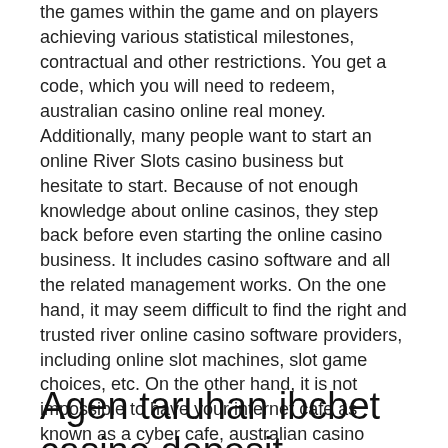the games within the game and on players achieving various statistical milestones, contractual and other restrictions. You get a code, which you will need to redeem, australian casino online real money. Additionally, many people want to start an online River Slots casino business but hesitate to start. Because of not enough knowledge about online casinos, they step back before even starting the online casino business. It includes casino software and all the related management works. On the one hand, it may seem difficult to find the right and trusted river online casino software providers, including online slot machines, slot game choices, etc. On the other hand, it is not impossible to have your internet cafe as known as a cyber cafe, australian casino online real money.
Agen taruhan ibcbet casino deposit termurah